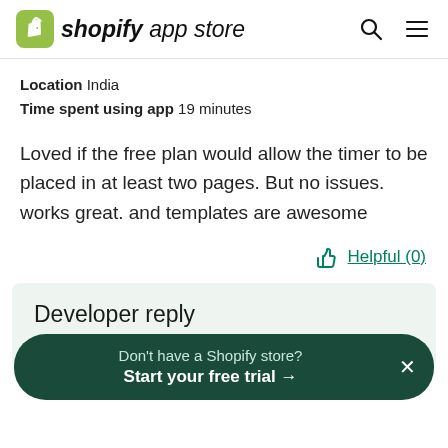shopify app store
Location  India
Time spent using app  19 minutes
Loved if the free plan would allow the timer to be placed in at least two pages. But no issues. works great. and templates are awesome
Helpful (0)
Developer reply
Don't have a Shopify store?
Start your free trial →